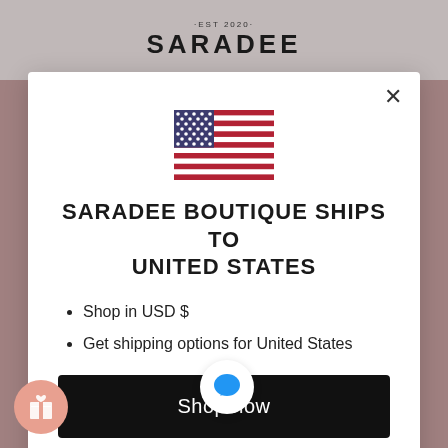·EST 2020· SARADEE
[Figure (illustration): US flag emoji/illustration centered in modal]
SARADEE BOUTIQUE SHIPS TO UNITED STATES
Shop in USD $
Get shipping options for United States
Shop now
Change shipping country
Tues-Wed: 10am-5pm